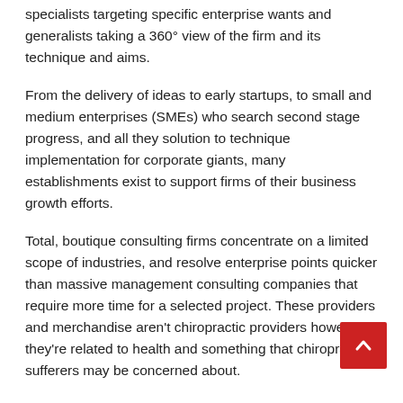specialists targeting specific enterprise wants and generalists taking a 360° view of the firm and its technique and aims.
From the delivery of ideas to early startups, to small and medium enterprises (SMEs) who search second stage progress, and all they solution to technique implementation for corporate giants, many establishments exist to support firms of their business growth efforts.
Total, boutique consulting firms concentrate on a limited scope of industries, and resolve enterprise points quicker than massive management consulting companies that require more time for a selected project. These providers and merchandise aren't chiropractic providers however they're related to health and something that chiropractic sufferers may be concerned about.
However, chiropractic...